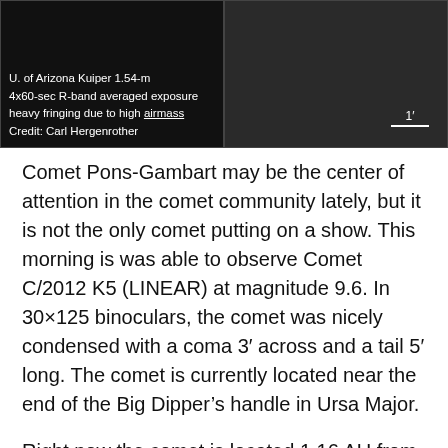[Figure (photo): Astronomical image split into two panels on dark background. Left panel shows text overlay with observation metadata. Right panel shows dark sky image with a scale bar of 1 arcminute.]
U. of Arizona Kuiper 1.54-m
4x60-sec R-band averaged exposure
heavy fringing due to high airmass
Credit: Carl Hergenrother
Comet Pons-Gambart may be the center of attention in the comet community lately, but it is not the only comet putting on a show. This morning is was able to observe Comet C/2012 K5 (LINEAR) at magnitude 9.6. In 30×125 binoculars, the comet was nicely condensed with a coma 3′ across and a tail 5′ long. The comet is currently located near the end of the Big Dipper's handle in Ursa Major.
Right now the comet is located 1.16 AU from the Sun 0.66 AU from Earth. Having passed perihelion on Nov 28 at 1.14 AU the comet is now heading away from the Sun. But it is still heading towards Earth and will pass within 0.29 AU (27 million miles